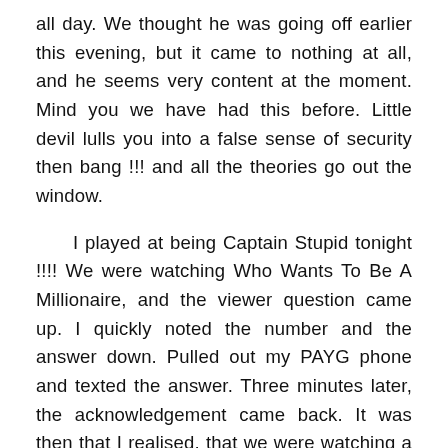all day. We thought he was going off earlier this evening, but it came to nothing at all, and he seems very content at the moment. Mind you we have had this before. Little devil lulls you into a false sense of security then bang !!! and all the theories go out the window.

    I played at being Captain Stupid tonight !!!! We were watching Who Wants To Be A Millionaire, and the viewer question came up. I quickly noted the number and the answer down. Pulled out my PAYG phone and texted the answer. Three minutes later, the acknowledgement came back. It was then that I realised, that we were watching a recording from yesterday !!!!! Thankfully, it would appear that I only paid a standard text message